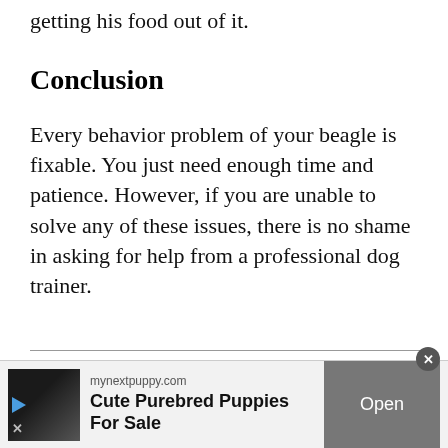getting his food out of it.
Conclusion
Every behavior problem of your beagle is fixable. You just need enough time and patience. However, if you are unable to solve any of these issues, there is no shame in asking for help from a professional dog trainer.
[Figure (photo): Circular photo of a dog, partially visible below a horizontal divider line]
[Figure (infographic): Advertisement banner for mynextpuppy.com showing a small dog image, text 'Cute Purebred Puppies For Sale', and an Open button]